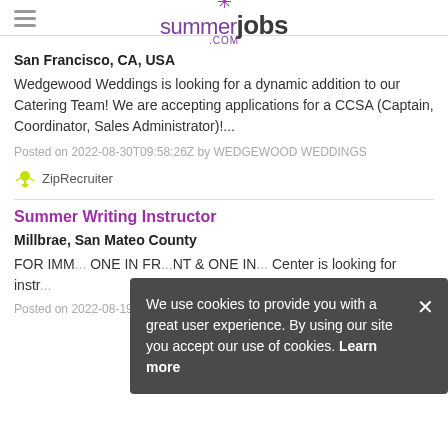summerjobs.com
San Francisco, CA, USA
Wedgewood Weddings is looking for a dynamic addition to our Catering Team! We are accepting applications for a CCSA (Captain, Coordinator, Sales Administrator)!...
Posted on 2022-08-30T09:58:26Z by WEDGEWOOD WEDDINGS
[Figure (logo): ZipRecruiter logo with green icon]
Summer Writing Instructor
Millbrae, San Mateo County
FOR IMM... ONE IN FRONT & ONE IN... Center is looking for instr...
Posted on 2022-08-19T03:10:33Z by Lekha Writing Center
We use cookies to provide you with a great user experience. By using our site you accept our use of cookies. Learn more